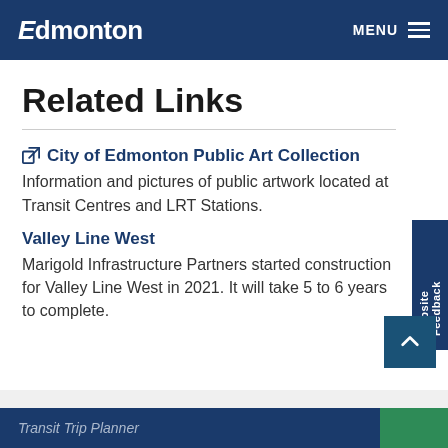Edmonton  MENU
Related Links
City of Edmonton Public Art Collection — Information and pictures of public artwork located at Transit Centres and LRT Stations.
Valley Line West — Marigold Infrastructure Partners started construction for Valley Line West in 2021. It will take 5 to 6 years to complete.
Transit Trip Planner